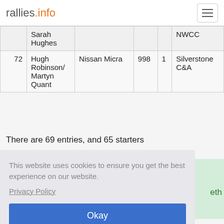rallies.info
| # | Driver | Car | cc | Class | Club |
| --- | --- | --- | --- | --- | --- |
|  | Sarah Hughes |  |  |  | NWCC |
| 72 | Hugh Robinson/ Martyn Quant | Nissan Micra | 998 | 1 | Silverstone C&A |
There are 69 entries, and 65 starters
This website uses cookies to ensure you get the best experience on our website.
Privacy Policy
Okay
Download PDF documents